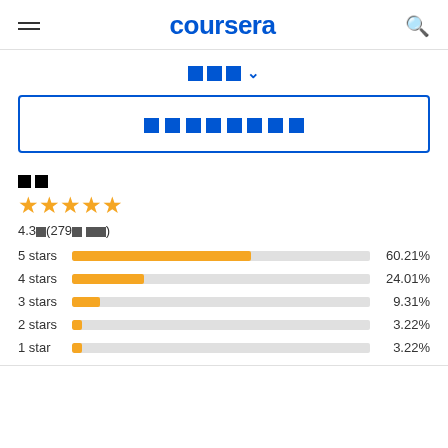coursera
🔲 🔲🔲 ∨
🔲🔲 🔲🔲🔲🔲 🔲🔲
🔲🔲
[Figure (other): 5 gold stars rating]
4.3🔲(279🔲 🔲🔲)
[Figure (bar-chart): Star ratings breakdown]